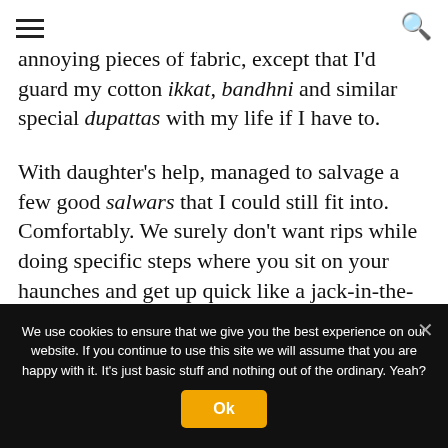[ hamburger menu ] [ search icon ]
annoying pieces of fabric, except that I'd guard my cotton ikkat, bandhni and similar special dupattas with my life if I have to.
With daughter's help, managed to salvage a few good salwars that I could still fit into. Comfortably. We surely don't want rips while doing specific steps where you sit on your haunches and get up quick like a jack-in-the-box. Daughter observed quietly that I did not have too many piles. I 'huh'ed and she replies:
We use cookies to ensure that we give you the best experience on our website. If you continue to use this site we will assume that you are happy with it. It's just basic stuff and nothing out of the ordinary. Yeah?